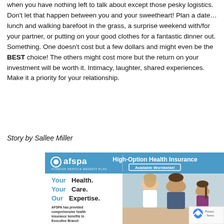when you have nothing left to talk about except those pesky logistics. Don't let that happen between you and your sweetheart! Plan a date… lunch and walking barefoot in the grass, a surprise weekend with/for your partner, or putting on your good clothes for a fantastic dinner out. Something. One doesn't cost but a few dollars and might even be the BEST choice! The others might cost more but the return on your investment will be worth it. Intimacy, laughter, shared experiences. Make it a priority for your relationship.
Story by Sallee Miller
[Figure (other): AFSPA Foreign Service Benefit Plan advertisement. Header bar in blue with AFSPA logo and text 'High-Option Health Insurance' with 'Available Worldwide!' badge. Body shows text 'Your Health. Your Care. Our Expertise.' and 'AFSPA has provided comprehensive health insurance benefits to Executive Branch' with a photo of a doctor, father, and young girl.]